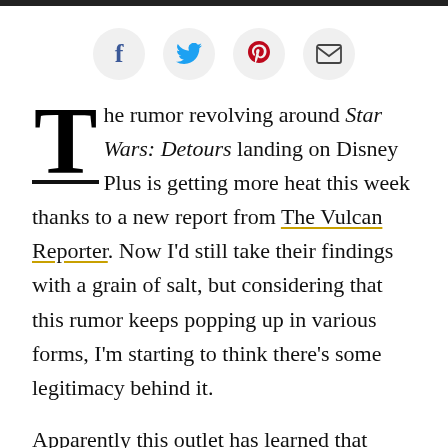[Figure (other): Social sharing buttons: Facebook, Twitter, Pinterest, Email]
The rumor revolving around Star Wars: Detours landing on Disney Plus is getting more heat this week thanks to a new report from The Vulcan Reporter. Now I'd still take their findings with a grain of salt, but considering that this rumor keeps popping up in various forms, I'm starting to think there's some legitimacy behind it.
Apparently this outlet has learned that close to 52 episodes have been created for the series since it was first announced in 2012. The series would feature